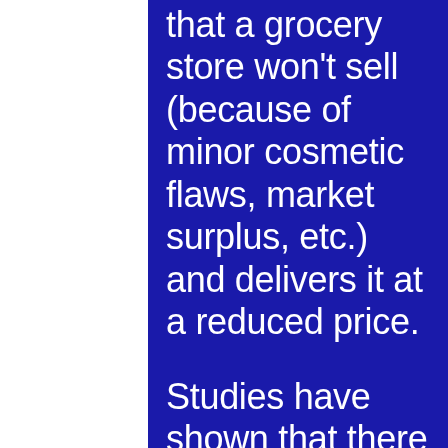that a grocery store won't sell (because of minor cosmetic flaws, market surplus, etc.) and delivers it at a reduced price.
Studies have shown that there are 3 main reasons why low-income families tend to opt for pre-packaged goods rather than fresh produce. The first reason that we discuss is